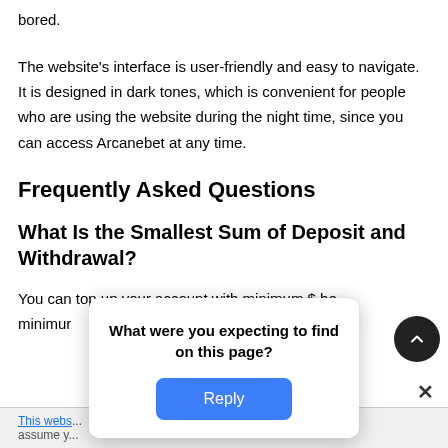bored.
The website's interface is user-friendly and easy to navigate. It is designed in dark tones, which is convenient for people who are using the website during the night time, since you can access Arcanebet at any time.
Frequently Asked Questions
What Is the Smallest Sum of Deposit and Withdrawal?
You can top up your account with minimum $... The minimum ... 0.
[Figure (other): Popup dialog asking 'What were you expecting to find on this page?' with a blue Reply button]
This webs... assume y...